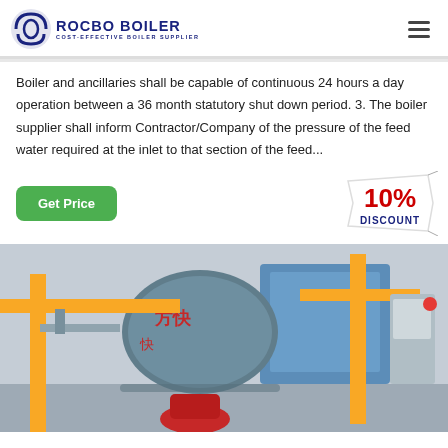ROCBO BOILER — COST-EFFECTIVE BOILER SUPPLIER
Boiler and ancillaries shall be capable of continuous 24 hours a day operation between a 36 month statutory shut down period. 3. The boiler supplier shall inform Contractor/Company of the pressure of the feed water required at the inlet to that section of the feed...
[Figure (illustration): 10% DISCOUNT badge graphic]
[Figure (photo): Industrial boiler facility with large cylindrical blue boiler vessel, yellow pipes, and red burner components. Chinese characters visible on the boiler.]